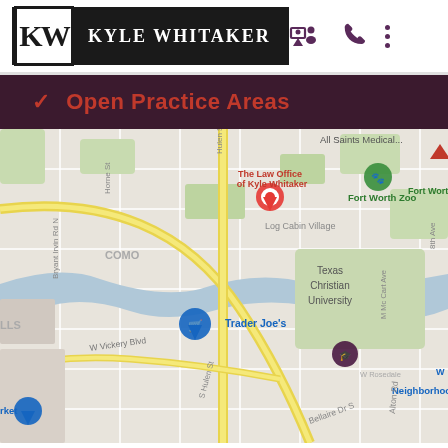[Figure (logo): Kyle Whitaker law firm logo — KW initials in black and white box, 'Kyle Whitaker' in white letters on black background]
[Figure (other): Navigation icons: map/contact icon, phone icon, three-dot menu icon, all in dark purple]
Open Practice Areas
[Figure (map): Google Maps screenshot showing Fort Worth, TX area including The Law Office of Kyle Whitaker marker, Fort Worth Zoo, Texas Christian University, Trader Joe's, Log Cabin Village, All Saints Medical, COMO neighborhood, W Vickery Blvd, S Hulen St, Bellaire Dr S, Alton Rd, Bryant Irvin Rd N, Horne St]